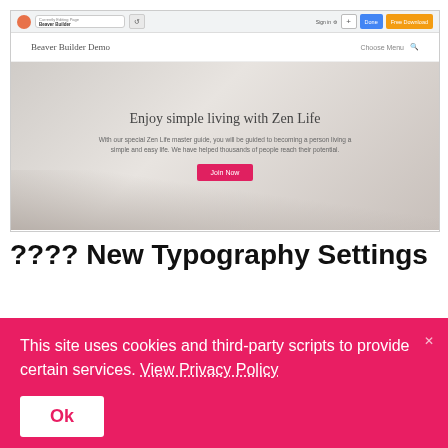[Figure (screenshot): Browser screenshot showing Beaver Builder Demo website with 'Enjoy simple living with Zen Life' hero section, navigation bar with browser chrome including URL bar, Sign In button, Done button (blue), and Free Download button (orange)]
???? New Typography Settings
This site uses cookies and third-party scripts to provide certain services. View Privacy Policy
Ok